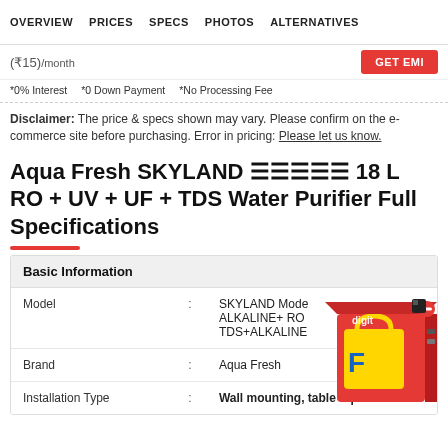OVERVIEW   PRICES   SPECS   PHOTOS   ALTERNATIVES
(₹15)/month   GET EMI
*0% Interest   *0 Down Payment   *No Processing Fee
Disclaimer: The price & specs shown may vary. Please confirm on the e-commerce site before purchasing. Error in pricing: Please let us know.
Aqua Fresh SKYLAND ᴴᴰᴿᴼᴹ 18 L RO + UV + UF + TDS Water Purifier Full Specifications
|  |  |  |
| --- | --- | --- |
| Basic Information |  |  |
| Model | : | SKYLAND Model ALKALINE+ RO TDS+ALKALINE |
| Brand | : | Aqua Fresh |
| Installation Type | : | Wall mounting, table top |